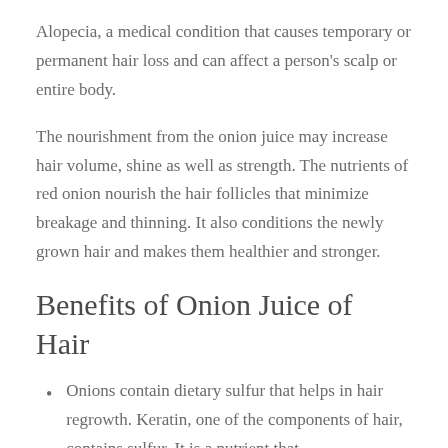Alopecia, a medical condition that causes temporary or permanent hair loss and can affect a person's scalp or entire body.
The nourishment from the onion juice may increase hair volume, shine as well as strength. The nutrients of red onion nourish the hair follicles that minimize breakage and thinning. It also conditions the newly grown hair and makes them healthier and stronger.
Benefits of Onion Juice of Hair
Onions contain dietary sulfur that helps in hair regrowth. Keratin, one of the components of hair, contains sulfur. It is a nutrient that